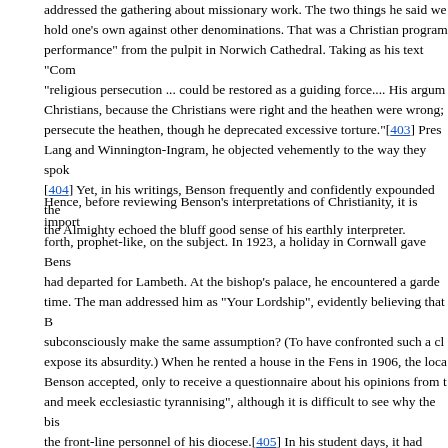addressed the gathering about missionary work.  The two things he said were: hold one's own against other denominations. That was a Christian program... performance" from the pulpit in Norwich Cathedral. Taking as his text "Com... "religious persecution ... could be restored as a guiding force....  His argum... Christians, because the Christians were right and the heathen were wrong; persecute the heathen, though he deprecated excessive torture."[403] Pres... Lang and Winnington-Ingram, he objected vehemently to the way they spok... [404] Yet, in his writings, Benson frequently and confidently expounded the the Almighty echoed the bluff good sense of his earthly interpreter.
Hence, before reviewing Benson's interpretations of Christianity, it is import... forth, prophet-like, on the subject. In 1923, a holiday in Cornwall gave Bens... had departed for Lambeth. At the bishop's palace, he encountered a garde... time. The man addressed him as "Your Lordship", evidently believing that B... subconsciously make the same assumption? (To have confronted such a cl... expose its absurdity.) When he rented a house in the Fens in 1906, the loca... Benson accepted, only to receive a questionnaire about his opinions from t... and meek ecclesiastic tyrannising", although it is difficult to see why the bis... the front-line personnel of his diocese.[405] In his student days, it had been... himself, and the possibility was mooted by Warre as late as 1901. "I cannot... Yet his essay on "Priests" in From a College Window, seemed to foreshadow... declaring that the outstanding priests he had known were not all eminent ec... ecclesiastics" who were "vigorous, wise, energetic, statesmanlike men" wh...